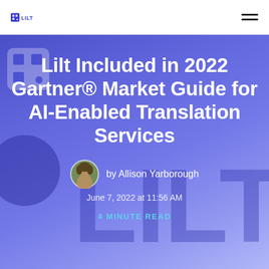LILT
[Figure (illustration): Hero banner with purple/blue gradient background, decorative large LILT watermark text and circle shape, containing article title, author avatar, author name, date, and read time]
Lilt Included in 2022 Gartner® Market Guide for AI-Enabled Translation Services
by Allison Yarborough
June 7, 2022 at 11:56 AM
4 MINUTE READ